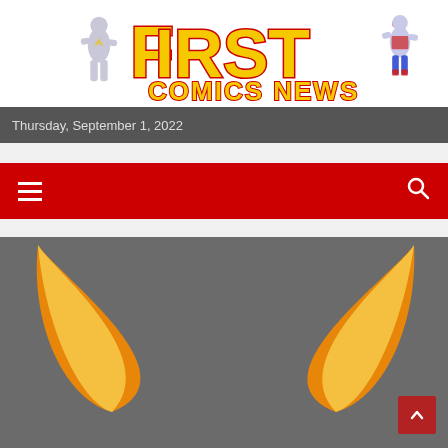[Figure (logo): First Comics News logo with two superhero figures flanking large yellow 'FIRST COMICS NEWS' text on white background]
Thursday, September 1, 2022
[Figure (screenshot): Red navigation bar with hamburger menu icon on left and search icon on right]
[Figure (illustration): Comic book panel showing dark grey background with orange/yellow curved wing or blade shapes on left and right sides, partially cropped]